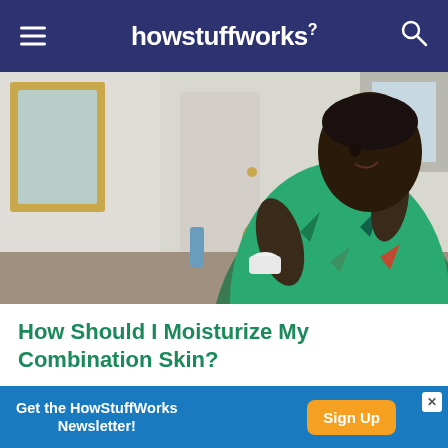howstuffworks
[Figure (photo): A person in a colorful green floral robe applying face cream from a small container, sitting in front of a mirror with cosmetics on a table in front of them.]
How Should I Moisturize My Combination Skin?
It's not always easy finding moisturizers for combination skin. But they are out there. You just…
By Jennifer Cohen
Get the HowStuffWorks Newsletter! Sign Up